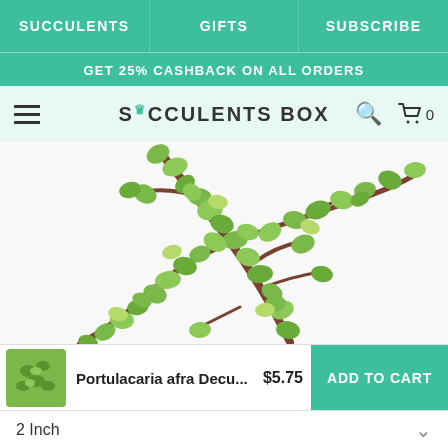SUCCULENTS | GIFTS | SUBSCRIBE
GET 25% CASHBACK ON ALL ORDERS
SUCCULENTS BOX
[Figure (photo): Close-up photo of Portulacaria afra Decumbens (elephant bush/dwarf jade) succulent plant with small round green leaves on reddish-brown branches against a white background]
Portulacaria afra Decu...  $5.75  ADD TO CART
2 Inch